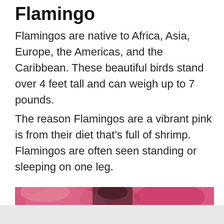Flamingo
Flamingos are native to Africa, Asia, Europe, the Americas, and the Caribbean. These beautiful birds stand over 4 feet tall and can weigh up to 7 pounds.
The reason Flamingos are a vibrant pink is from their diet that's full of shrimp. Flamingos are often seen standing or sleeping on one leg.
[Figure (photo): Close-up photo of flamingos showing pink plumage, partially visible at bottom of page]
ADVERTISEMENT